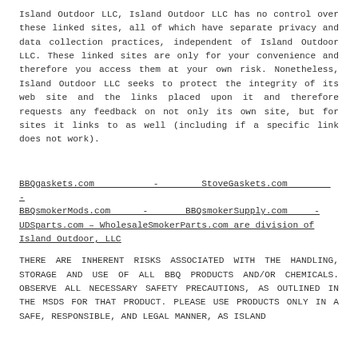Island Outdoor LLC, Island Outdoor LLC has no control over these linked sites, all of which have separate privacy and data collection practices, independent of Island Outdoor LLC. These linked sites are only for your convenience and therefore you access them at your own risk. Nonetheless, Island Outdoor LLC seeks to protect the integrity of its web site and the links placed upon it and therefore requests any feedback on not only its own site, but for sites it links to as well (including if a specific link does not work).
BBQgaskets.com - StoveGaskets.com - BBQsmokerMods.com - BBQsmokerSupply.com - UDSparts.com – WholesaleSmokerParts.com are division of Island Outdoor, LLC
THERE ARE INHERENT RISKS ASSOCIATED WITH THE HANDLING, STORAGE AND USE OF ALL BBQ PRODUCTS AND/OR CHEMICALS. OBSERVE ALL NECESSARY SAFETY PRECAUTIONS, AS OUTLINED IN THE MSDS FOR THAT PRODUCT. PLEASE USE PRODUCTS ONLY IN A SAFE, RESPONSIBLE, AND LEGAL MANNER, AS ISLAND